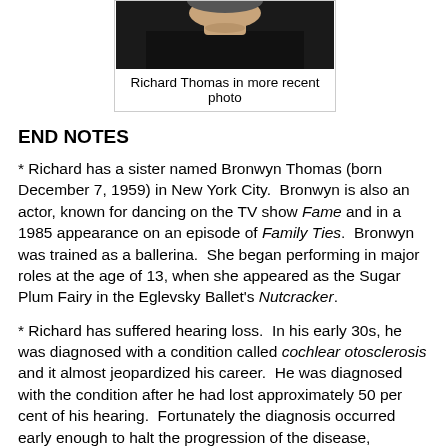[Figure (photo): Photo of Richard Thomas, a man in a dark shirt, partial crop showing face and upper body]
Richard Thomas in more recent photo
END NOTES
* Richard has a sister named Bronwyn Thomas (born December 7, 1959) in New York City.  Bronwyn is also an actor, known for dancing on the TV show Fame and in a 1985 appearance on an episode of Family Ties.  Bronwyn was trained as a ballerina.  She began performing in major roles at the age of 13, when she appeared as the Sugar Plum Fairy in the Eglevsky Ballet's Nutcracker.
* Richard has suffered hearing loss.  In his early 30s, he was diagnosed with a condition called cochlear otosclerosis and it almost jeopardized his career.  He was diagnosed with the condition after he had lost approximately 50 per cent of his hearing.  Fortunately the diagnosis occurred early enough to halt the progression of the disease, although a great deal of damage had been done  As a result, Richard wears hearing